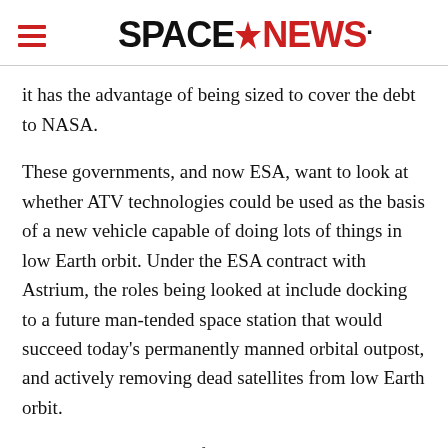SPACENEWS
it has the advantage of being sized to cover the debt to NASA.
These governments, and now ESA, want to look at whether ATV technologies could be used as the basis of a new vehicle capable of doing lots of things in low Earth orbit. Under the ESA contract with Astrium, the roles being looked at include docking to a future man-tended space station that would succeed today’s permanently manned orbital outpost, and actively removing dead satellites from low Earth orbit.
Reducing the amount of debris — including spent satellites and rocket stages — in low Earth orbit is viewed as a priority at NASA, ESA and other space